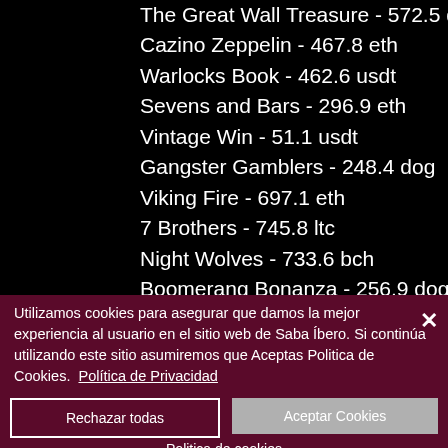The Great Wall Treasure - 572.5 dog
Cazino Zeppelin - 467.8 eth
Warlocks Book - 462.6 usdt
Sevens and Bars - 296.9 eth
Vintage Win - 51.1 usdt
Gangster Gamblers - 248.4 dog
Viking Fire - 697.1 eth
7 Brothers - 745.8 ltc
Night Wolves - 733.6 bch
Boomerang Bonanza - 256.9 dog
Fruit Shop Christmas Edition - 728.2 usdt
Fruits of the Nile - 266.2 eth
Utilizamos cookies para asegurar que damos la mejor experiencia al usuario en el sitio web de Saba Íbero. Si continúa utilizando este sitio asumiremos que Aceptas Politica de Cookies. Política de Privacidad
Rechazar todas | Aceptar Cookies | Politica de cookies